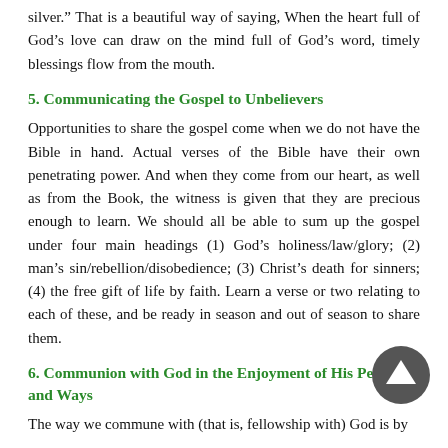silver." That is a beautiful way of saying, When the heart full of God's love can draw on the mind full of God's word, timely blessings flow from the mouth.
5. Communicating the Gospel to Unbelievers
Opportunities to share the gospel come when we do not have the Bible in hand. Actual verses of the Bible have their own penetrating power. And when they come from our heart, as well as from the Book, the witness is given that they are precious enough to learn. We should all be able to sum up the gospel under four main headings (1) God’s holiness/law/glory; (2) man’s sin/rebellion/disobedience; (3) Christ’s death for sinners; (4) the free gift of life by faith. Learn a verse or two relating to each of these, and be ready in season and out of season to share them.
6. Communion with God in the Enjoyment of His Person and Ways
The way we commune with (that is, fellowship with) God is by